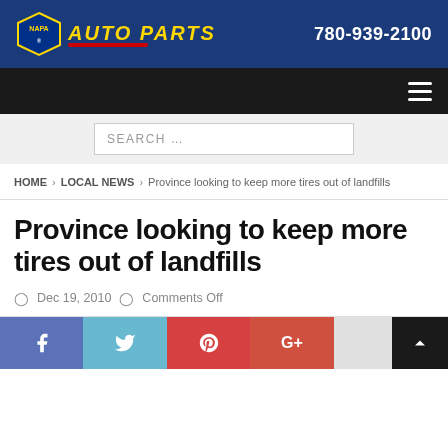[Figure (logo): NAPA Auto Parts banner with logo and phone number 780-939-2100 on dark blue background]
Navigation bar with hamburger menu icon
SEARCH ...
HOME > LOCAL NEWS > Province looking to keep more tires out of landfills
Province looking to keep more tires out of landfills
Dec 19, 2010   Comments Off
[Figure (infographic): Social sharing bar with Facebook, Twitter, Pinterest, Google+, and more buttons, plus back-to-top button]